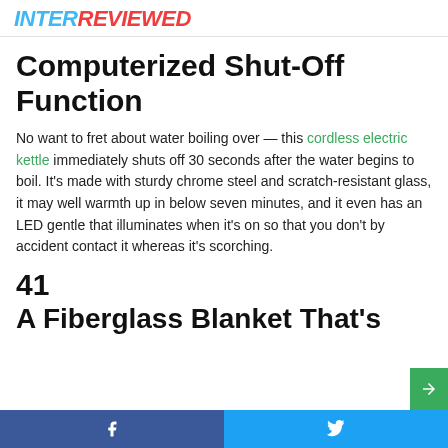INTERREVIEWED
Computerized Shut-Off Function
No want to fret about water boiling over — this cordless electric kettle immediately shuts off 30 seconds after the water begins to boil. It's made with sturdy chrome steel and scratch-resistant glass, it may well warmth up in below seven minutes, and it even has an LED gentle that illuminates when it's on so that you don't by accident contact it whereas it's scorching.
41
A Fiberglass Blanket That's